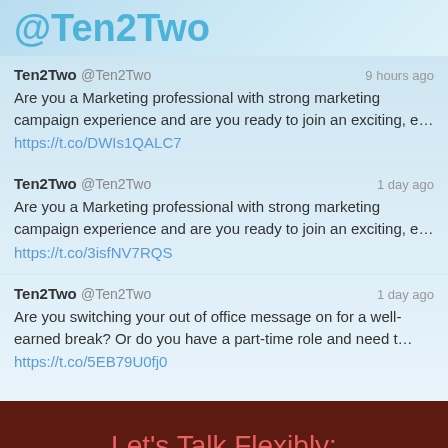@Ten2Two
Ten2Two @Ten2Two   9 hours ago
Are you a Marketing professional with strong marketing campaign experience and are you ready to join an exciting, e…
https://t.co/DWIs1QALC7
Ten2Two @Ten2Two   1 day ago
Are you a Marketing professional with strong marketing campaign experience and are you ready to join an exciting, e…
https://t.co/3isfNV7RQS
Ten2Two @Ten2Two   1 day ago
Are you switching your out of office message on for a well-earned break? Or do you have a part-time role and need t…
https://t.co/5EB79U0fj0
Let's Talk Flexibly:
FIND YOUR LOCAL OFFICE